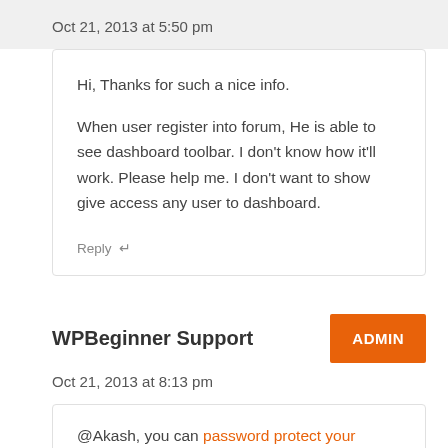Oct 21, 2013 at 5:50 pm
Hi, Thanks for such a nice info.

When user register into forum, He is able to see dashboard toolbar. I don't know how it'll work. Please help me. I don't want to show give access any user to dashboard.
Reply ↵
WPBeginner Support
ADMIN
Oct 21, 2013 at 8:13 pm
@Akash, you can password protect your